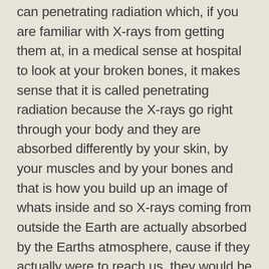can penetrating radiation which, if you are familiar with X-rays from getting them at, in a medical sense at hospital to look at your broken bones, it makes sense that it is called penetrating radiation because the X-rays go right through your body and they are absorbed differently by your skin, by your muscles and by your bones and that is how you build up an image of whats inside and so X-rays coming from outside the Earth are actually absorbed by the Earths atmosphere, cause if they actually were to reach us, they would be extremely damaging and harmful to our bodies because they go right through and would be sort if you think about ultra-violet rays causing skin cancer, X-rays are much more energetic than that so it would be a real problem. So in order to observe X-rays and observe the Universe in X-rays we actually have to